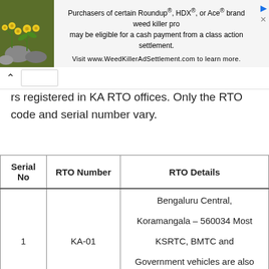[Figure (screenshot): Advertisement banner for WeedKillerAdSettlement.com with plant image on the left and text about Roundup, HDX, or Ace brand weed killer class action settlement.]
rs registered in KA RTO offices. Only the RTO code and serial number vary.
| Serial No | RTO Number | RTO Details |
| --- | --- | --- |
| 1 | KA-01 | Bengaluru Central, Koramangala – 560034 Most KSRTC, BMTC and Government vehicles are also registered here. |
| 2 | KA-02 | Bengaluru West, Rajajinagar – |